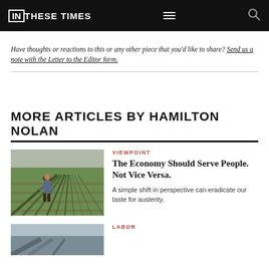IN THESE TIMES
Have thoughts or reactions to this or any other piece that you'd like to share? Send us a note with the Letter to the Editor form.
MORE ARTICLES BY HAMILTON NOLAN
[Figure (photo): Person walking through rows of green crops in a field, wearing a hat and carrying bags]
VIEWPOINT
The Economy Should Serve People. Not Vice Versa.
A simple shift in perspective can eradicate our taste for austerity.
LABOR
[Figure (photo): Partial view of another article thumbnail image]